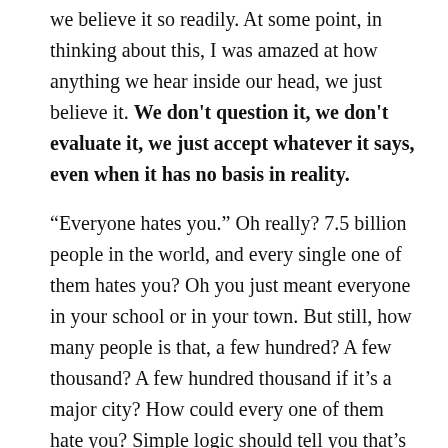we believe it so readily. At some point, in thinking about this, I was amazed at how anything we hear inside our head, we just believe it. We don't question it, we don't evaluate it, we just accept whatever it says, even when it has no basis in reality.
“Everyone hates you.” Oh really? 7.5 billion people in the world, and every single one of them hates you? Oh you just meant everyone in your school or in your town. But still, how many people is that, a few hundred? A few thousand? A few hundred thousand if it’s a major city? How could every one of them hate you? Simple logic should tell you that’s not even possible. But you believe it. Because it comes from your head, so it must be true, right? Wrong!